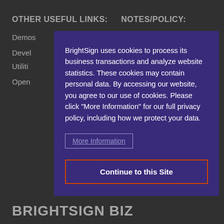OTHER USEFUL LINKS:
NOTES/POLICY:
Demos
BrightAuthor:connected Release Notes
Devel
Utiliti
Open
BrightSign uses cookies to process its business transactions and analyze website statistics. These cookies may contain personal data. By accessing our website, you agree to our use of cookies. Please click “More Information” for our full privacy policy, including how we protect your data.
More Information
Continue to this Site
BRIGHTSIGN BIZ